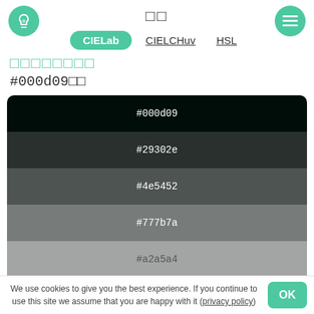□□
CIELab  CIELCHuv  HSL
□□□□□□□□
#000d09□□
[Figure (infographic): Color palette with 6 swatches: #000d09 (near black), #29302e (very dark green-gray), #4e5452 (dark gray-green), #777b7a (medium gray), #a2a5a4 (light gray), #d0d1d1 (very light gray)]
#ffffff / #fff
We use cookies to give you the best experience. If you continue to use this site we assume that you are happy with it (privacy policy)